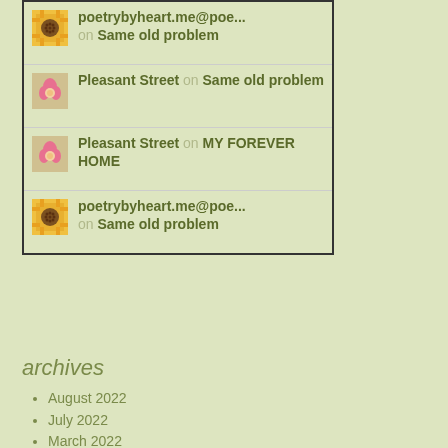poetrybyheart.me@poe... on Same old problem
Pleasant Street on Same old problem
Pleasant Street on MY FOREVER HOME
poetrybyheart.me@poe... on Same old problem
archives
August 2022
July 2022
March 2022
January 2022
December 2021
November 2021
October 2021
September 2021
August 2021
July 2021